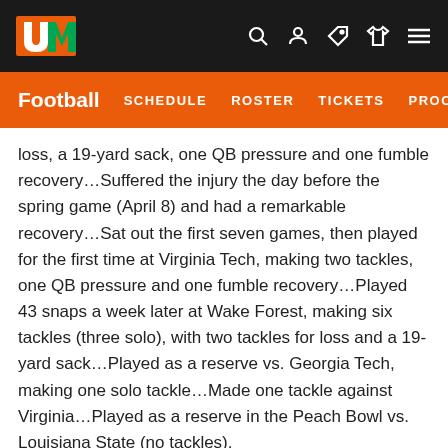University of Miami Football - Navigation bar with logo, search, user, tickets, shop, menu icons
Football  SCHEDULE  ROSTER  TICKETS  PROCANE
loss, a 19-yard sack, one QB pressure and one fumble recovery...Suffered the injury the day before the spring game (April 8) and had a remarkable recovery...Sat out the first seven games, then played for the first time at Virginia Tech, making two tackles, one QB pressure and one fumble recovery...Played 43 snaps a week later at Wake Forest, making six tackles (three solo), with two tackles for loss and a 19-yard sack...Played as a reserve vs. Georgia Tech, making one solo tackle...Made one tackle against Virginia...Played as a reserve in the Peach Bowl vs. Louisiana State (no tackles).
2004 (FRESHMAN): Played in 11 games as a backup defensive tackle, missing one game with an injury...Recorded 21 tackles (15 solo) during it, aside from five QB